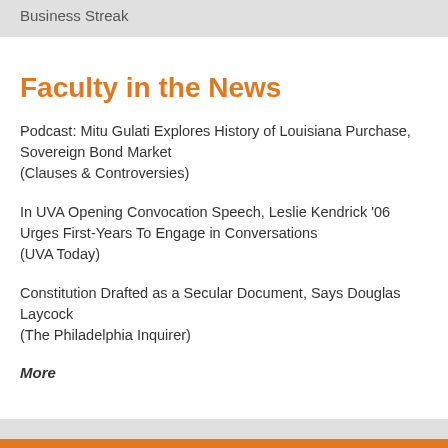Business Streak
Faculty in the News
Podcast: Mitu Gulati Explores History of Louisiana Purchase, Sovereign Bond Market
(Clauses & Controversies)
In UVA Opening Convocation Speech, Leslie Kendrick '06 Urges First-Years To Engage in Conversations
(UVA Today)
Constitution Drafted as a Secular Document, Says Douglas Laycock
(The Philadelphia Inquirer)
More